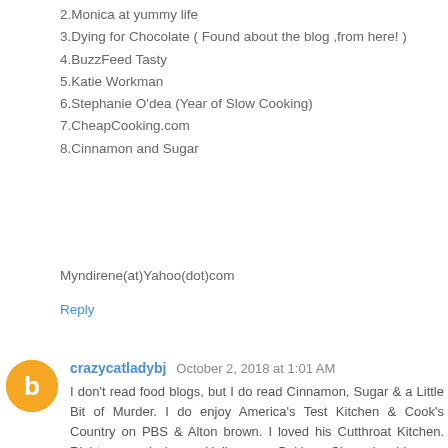2.Monica at yummy life
3.Dying for Chocolate ( Found about the blog ,from here! )
4.BuzzFeed Tasty
5.Katie Workman
6.Stephanie O'dea (Year of Slow Cooking)
7.CheapCooking.com
8.Cinnamon and Sugar
Myndirene(at)Yahoo(dot)com
Reply
crazycatladybj October 2, 2018 at 1:01 AM
I don't read food blogs, but I do read Cinnamon, Sugar & a Little Bit of Murder. I do enjoy America's Test Kitchen & Cook's Country on PBS & Alton brown. I loved his Cutthroat Kitchen. Right now I have Halloween Baking Championship on. Halloween Wars is great too. cameronbarbara@ymail.com
Reply